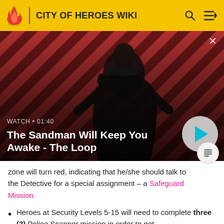CITY OF HEROES WIKI
[Figure (screenshot): Video thumbnail showing a dark figure with a crow on shoulder against a red diagonal striped background. Text overlay: WATCH • 01:40 / The Sandman Will Keep You Awake - The Loop. Play button on right.]
zone will turn red, indicating that he/she should talk to the Detective for a special assignment – a Safeguard Mission.
Heroes at Security Levels 5-15 will need to complete three (3) Police Scanner mission in order to get